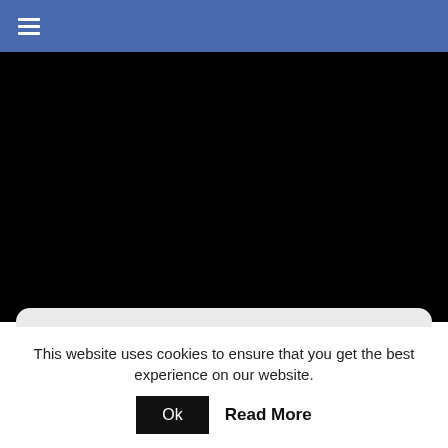[Figure (screenshot): Blue navigation bar with hamburger menu icon (three white horizontal lines) on the left]
[Figure (photo): Large black rectangular area, appears to be a blank/dark media area]
Send us a Feedback
This website uses cookies to ensure that you get the best experience on our website.
Ok   Read More